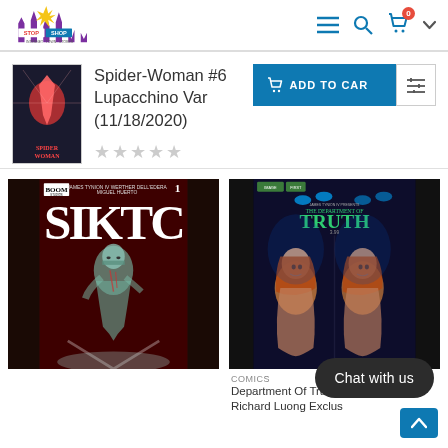Stop Shop — header with logo, menu, search, cart (0), chevron
Spider-Woman #6 Lupacchino Var (11/18/2020)
[Figure (photo): Spider-Woman #6 comic book cover thumbnail]
★★★★★ (empty star rating)
ADD TO CART button
[Figure (photo): SIKTC #1 comic book cover — James Tynion IV, Werther Dell'Edera, Miguel Huerto — BOOM Studios]
[Figure (photo): Department of Truth comic book covers — two side by side variant covers showing a red-haired woman]
COMICS
Department Of Truth
Richard Luong Exclus
Chat with us